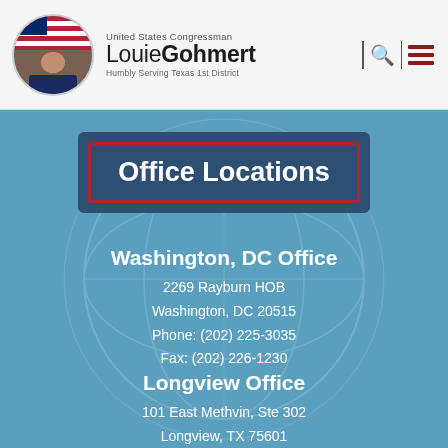United States Congressman Louie Gohmert Humbly Serving Texas 1st District
Office Locations
Washington, DC Office
2269 Rayburn HOB
Washington, DC 20515
Phone: (202) 225-3035
Fax: (202) 226-1230
Longview Office
101 East Methvin, Ste 302
Longview, TX 75601
T (903) 236-8597